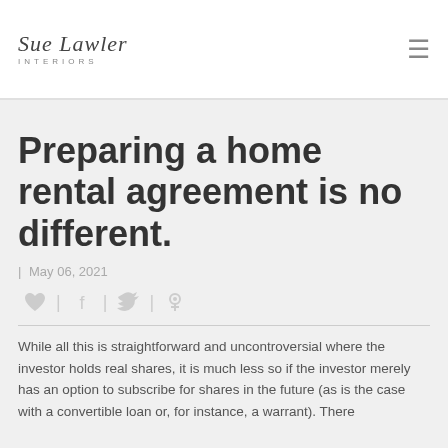Sue Lawler Interiors
Preparing a home rental agreement is no different.
| May 06, 2021
[Figure (other): Social share icons row: heart, facebook, twitter, pinterest separated by pipe dividers]
While all this is straightforward and uncontroversial where the investor holds real shares, it is much less so if the investor merely has an option to subscribe for shares in the future (as is the case with a convertible loan or, for instance, a warrant). There